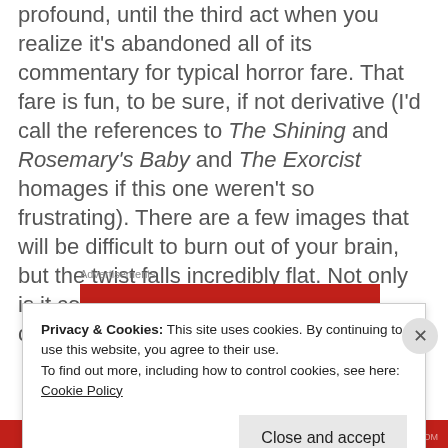profound, until the third act when you realize it's abandoned all of its commentary for typical horror fare. That fare is fun, to be sure, if not derivative (I'd call the references to The Shining and Rosemary's Baby and The Exorcist homages if this one weren't so frustrating). There are a few images that will be difficult to burn out of your brain, but the twist falls incredibly flat. Not only is it confusing, but apparently it's completely arbitrary.
Advertisements
[Figure (other): Red advertisement banner]
Privacy & Cookies: This site uses cookies. By continuing to use this website, you agree to their use. To find out more, including how to control cookies, see here: Cookie Policy
Close and accept